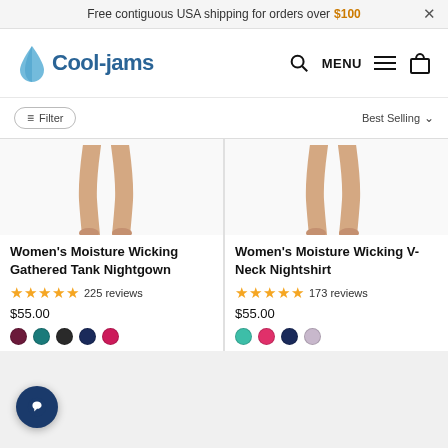Free contiguous USA shipping for orders over $100  ×
[Figure (logo): Cool-jams logo with blue droplet/leaf mark and text 'Cool-jams']
[Figure (screenshot): Navigation bar with search icon, MENU hamburger, and shopping bag icon]
Filter  |  Best Selling
[Figure (photo): Partial product image showing legs/feet of model wearing nightgown (left product)]
[Figure (photo): Partial product image showing legs/feet of model wearing nightshirt (right product)]
Women's Moisture Wicking Gathered Tank Nightgown
★★★★★ 225 reviews
$55.00
Women's Moisture Wicking V-Neck Nightshirt
★★★★★ 173 reviews
$55.00